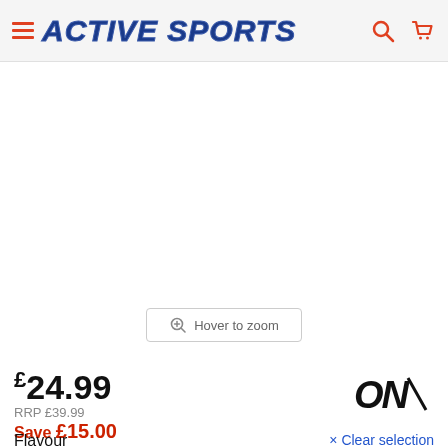ACTIVE SPORTS
[Figure (screenshot): Product image area with 'Hover to zoom' button overlay]
£24.99
RRP £39.99
Save £15.00
[Figure (logo): ON (Optimum Nutrition) brand logo in black italic]
Flavour
× Clear selection